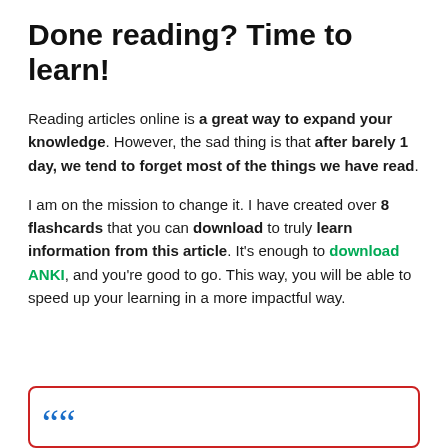Done reading? Time to learn!
Reading articles online is a great way to expand your knowledge. However, the sad thing is that after barely 1 day, we tend to forget most of the things we have read.
I am on the mission to change it. I have created over 8 flashcards that you can download to truly learn information from this article. It's enough to download ANKI, and you're good to go. This way, you will be able to speed up your learning in a more impactful way.
[Figure (other): Bottom card/box with red border and blue quotation mark icon visible at bottom of page]